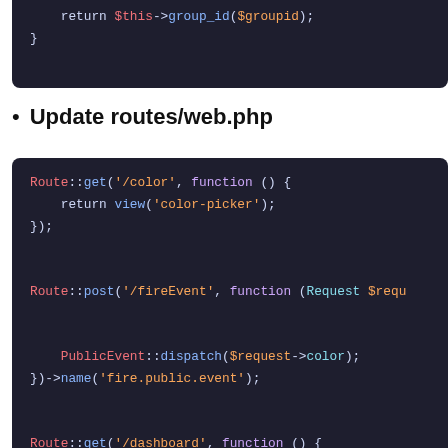[Figure (screenshot): Top portion of a dark-themed code block showing PHP code: return $this->group_id($groupid); followed by closing brace]
Update routes/web.php
[Figure (screenshot): Dark-themed code block showing PHP Laravel route definitions: Route::get('/color', ...), Route::post('/fireEvent', ...) with PublicEvent::dispatch, Route::get('/dashboard', ...)]